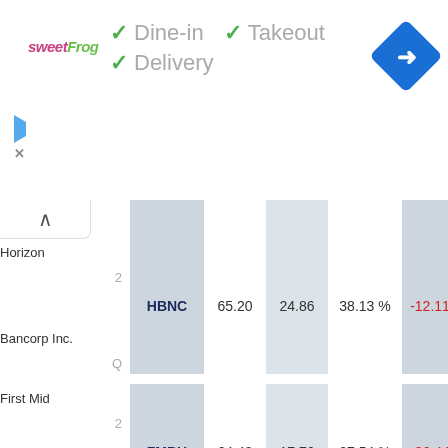[Figure (screenshot): SweetFrog logo with green checkmarks for Dine-in, Takeout, Delivery options, and a blue navigation arrow icon]
| Company | Ticker | Price | EPS | Ratio | Change |
| --- | --- | --- | --- | --- | --- |
| Horizon Bancorp Inc. | HBNC | 65.20 | 24.86 | 38.13 % | -12.11 |
| First Mid Bancshares Inc. | FMBH | 64.48 | 17.76 | 27.54 % | -86.44 |
| German American | GABC | 64.48 | 23.75 | 36.83 % | -144.55 |